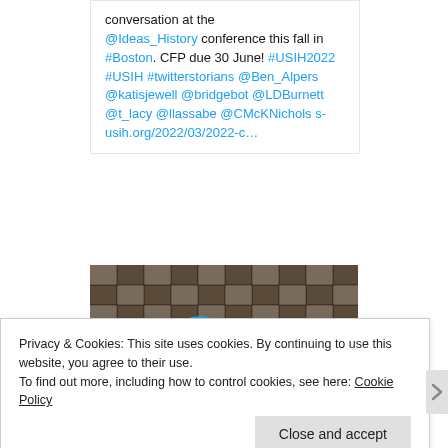conversation at the @Ideas_History conference this fall in #Boston. CFP due 30 June! #USIH2022 #USIH #twitterstorians @Ben_Alpers @katisjewell @bridgebot @LDBurnett @t_lacy @llassabe @CMcKNichols s-usih.org/2022/03/2022-c…
[Figure (photo): Video thumbnail showing a tiled surface with a blue play button circle overlay]
Privacy & Cookies: This site uses cookies. By continuing to use this website, you agree to their use.
To find out more, including how to control cookies, see here: Cookie Policy
Close and accept